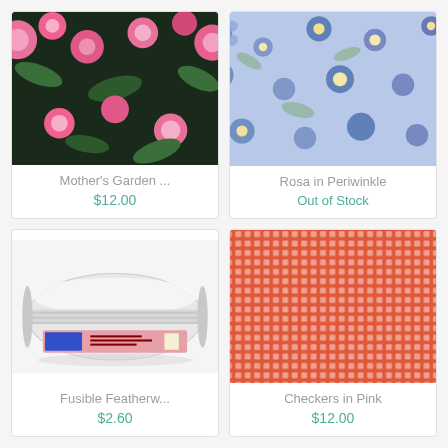[Figure (photo): Floral fabric with pink and colorful flowers on dark background - Mother's Garden]
Mother's Garden ...
$12.00
[Figure (photo): Floral fabric with blue and multicolor flowers - Rosa in Periwinkle]
Rosa in Periwinkle
Out of Stock
[Figure (photo): Roll of white fusible featherweight interfacing with label]
Fusible Featherw...
$2.60
[Figure (photo): Orange/coral checkers pattern fabric - Checkers in Pink]
Checkers in Pink
$12.00